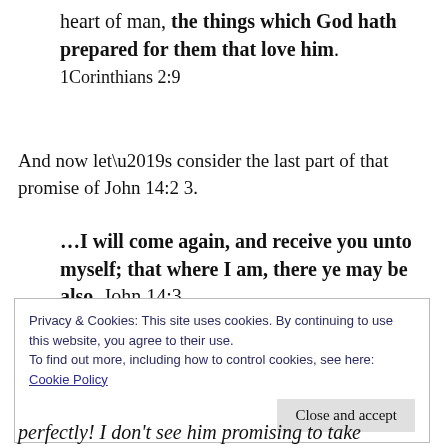heart of man, the things which God hath prepared for them that love him. 1Corinthians 2:9
And now let’s consider the last part of that promise of John 14:2 3.
…I will come again, and receive you unto myself; that where I am, there ye may be also. John 14:3
Privacy & Cookies: This site uses cookies. By continuing to use this website, you agree to their use.
To find out more, including how to control cookies, see here: Cookie Policy
Close and accept
perfectly! I don’t see him promising to take